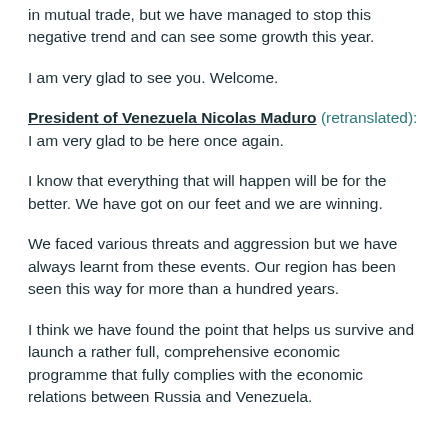in mutual trade, but we have managed to stop this negative trend and can see some growth this year.
I am very glad to see you. Welcome.
President of Venezuela Nicolas Maduro (retranslated): I am very glad to be here once again.
I know that everything that will happen will be for the better. We have got on our feet and we are winning.
We faced various threats and aggression but we have always learnt from these events. Our region has been seen this way for more than a hundred years.
I think we have found the point that helps us survive and launch a rather full, comprehensive economic programme that fully complies with the economic relations between Russia and Venezuela.